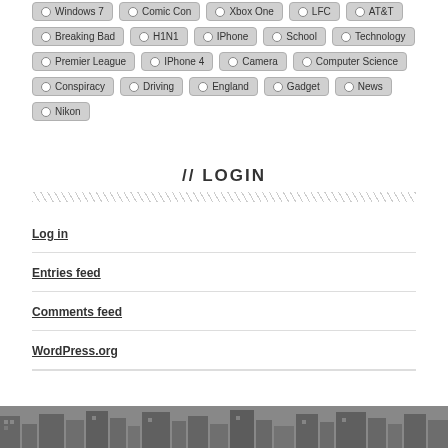Windows 7
Comic Con
Xbox One
LFC
AT&T
Breaking Bad
H1N1
IPhone
School
Technology
Premier League
IPhone 4
Camera
Computer Science
Conspiracy
Driving
England
Gadget
News
Nikon
// LOGIN
Log in
Entries feed
Comments feed
WordPress.org